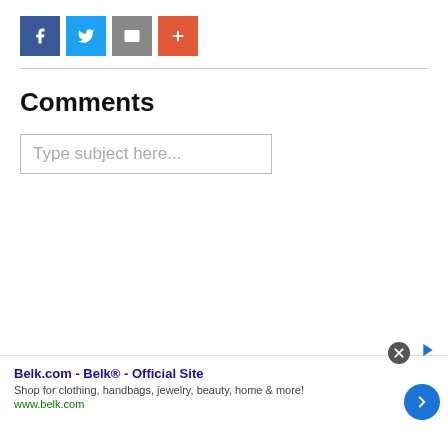[Figure (infographic): Row of four social share buttons: Facebook (dark blue), Twitter (light blue), Email (gray), and More/Plus (orange-red)]
Comments
Type subject here...
[Figure (infographic): Advertisement banner: Belk.com - Belk® - Official Site. Shop for clothing, handbags, jewelry, beauty, home & more! www.belk.com. With close button and right arrow navigation button.]